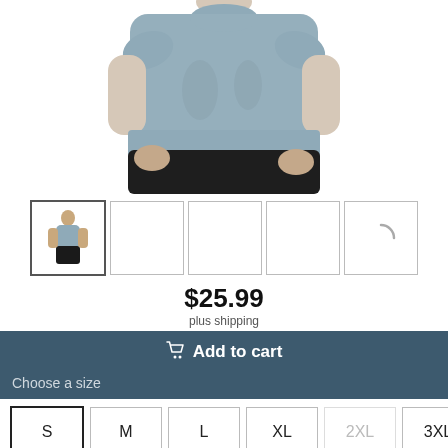[Figure (photo): Woman wearing a light blue/grey t-shirt with hands in pockets, torso and lower face visible, white background]
[Figure (photo): Thumbnail row: first thumbnail shows small image of woman in blue t-shirt, thumbnails 2-4 are empty white boxes with borders, thumbnail 5 shows a loading spinner arc]
$25.99
plus shipping
Add to cart
Choose a size
S
M
L
XL
2XL
3XL
slimmer fit   Size chart   Regional sizing US